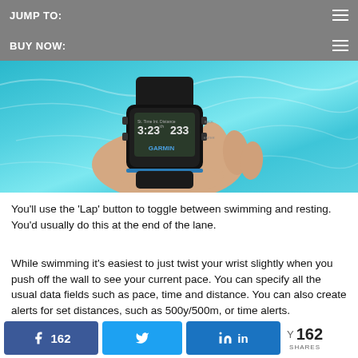JUMP TO:
BUY NOW:
[Figure (photo): A Garmin GPS watch being held underwater in a swimming pool, showing 3:23 and 233 on its display screen, with blue water and light patterns in the background.]
You'll use the ‘Lap’ button to toggle between swimming and resting. You'd usually do this at the end of the lane.
While swimming it's easiest to just twist your wrist slightly when you push off the wall to see your current pace.  You can specify all the usual data fields such as pace, time and distance.  You can also create alerts for set distances, such as 500y/500m, or time alerts.
162  162 SHARES